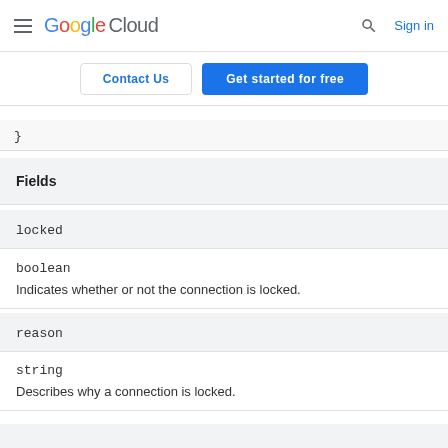Google Cloud  Sign in
Contact Us  Get started for free
}
Fields
locked
boolean
Indicates whether or not the connection is locked.
reason
string
Describes why a connection is locked.